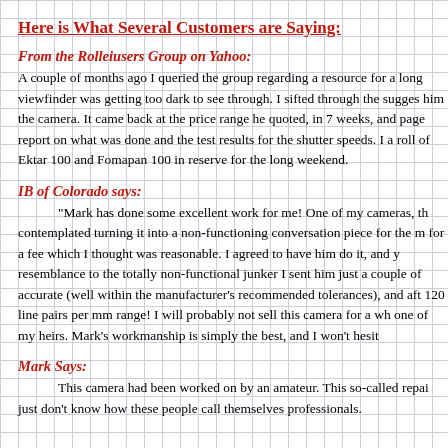Here is What Several Customers are Saying:
From the Rolleiusers Group on Yahoo:
A couple of months ago I queried the group regarding a resource for a long viewfinder was getting too dark to see through. I sifted through the sugges him the camera. It came back at the price range he quoted, in 7 weeks, and page report on what was done and the test results for the shutter speeds. I a roll of Ektar 100 and Fomapan 100 in reserve for the long weekend.
IB of Colorado says:
"Mark has done some excellent work for me!  One of my cameras, th contemplated turning it into a non-functioning conversation piece for the m for a fee which I thought was reasonable.  I agreed to have him do it, and y resemblance to the totally non-functional junker I sent him just a couple of accurate (well within the manufacturer's recommended tolerances), and aft 120 line pairs per mm range!   I will probably not sell this camera for a wh one of my heirs.  Mark's workmanship is simply the best, and I won't hesit
Mark Says:
This camera had been worked on by an amateur.  This so-called repai just don't know how these people call themselves professionals.